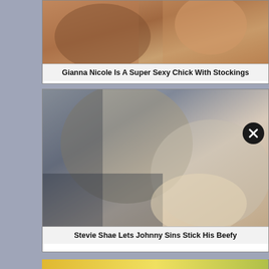[Figure (photo): Photograph thumbnail for video/content card 1]
Gianna Nicole Is A Super Sexy Chick With Stockings
[Figure (photo): Photograph thumbnail for video/content card 2]
Stevie Shae Lets Johnny Sins Stick His Beefy
[Figure (photo): Photograph thumbnail for video/content card 3 (partially visible)]